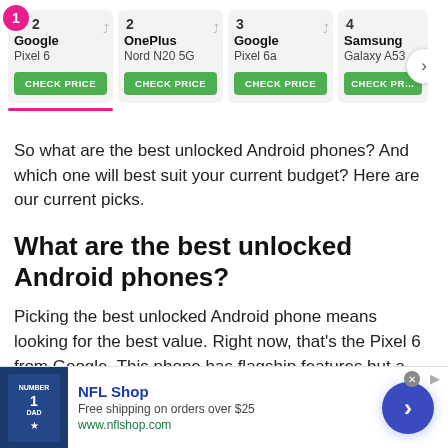[Figure (screenshot): Product carousel showing ranked Android phones: 1. Google Pixel 6, 2. OnePlus Nord N20 5G, 3. Google Pixel 6a, 4. Samsung Galaxy A53. Each card has a CHECK PRICE button. A navigation arrow is visible on the right.]
So what are the best unlocked Android phones? And which one will best suit your current budget? Here are our current picks.
What are the best unlocked Android phones?
Picking the best unlocked Android phone means looking for the best value. Right now, that's the Pixel 6 from Google. This phone has flagship features but a
[Figure (screenshot): NFL Shop advertisement banner at the bottom of the page. Shows a jersey image, NFL Shop title, 'Free shipping on orders over $25', www.nflshop.com, and a blue navigation arrow button.]